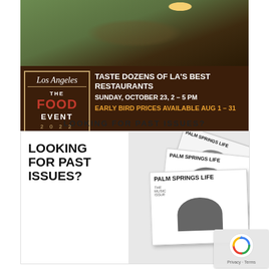[Figure (photo): Los Angeles Magazine – The Food Event 2022 advertisement. Top half shows an outdoor food festival crowd scene with people sitting and standing on grass during golden hour. Bottom half shows event details on dark brown background.]
LOOKING FOR PAST ISSUES?
[Figure (photo): Palm Springs Life magazine subscription advertisement showing stacked magazine covers with 'Looking for Past Issues?' text on the left and multiple Palm Springs Life magazine covers fanned out on the right.]